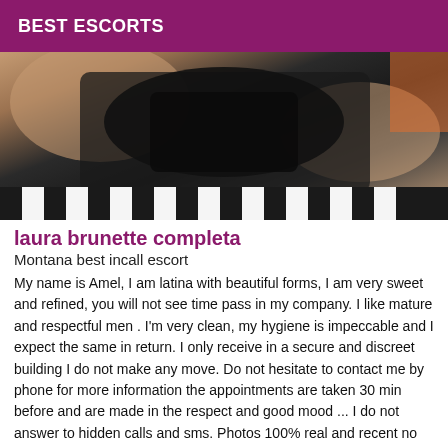BEST ESCORTS
[Figure (photo): A woman in black lingerie lying on a zebra-print surface, photo cropped to show body from shoulders to legs]
laura brunette completa
Montana best incall escort
My name is Amel, I am latina with beautiful forms, I am very sweet and refined, you will not see time pass in my company. I like mature and respectful men . I'm very clean, my hygiene is impeccable and I expect the same in return. I only receive in a secure and discreet building I do not make any move. Do not hesitate to contact me by phone for more information the appointments are taken 30 min before and are made in the respect and good mood ... I do not answer to hidden calls and sms. Photos 100% real and recent no bad surprises